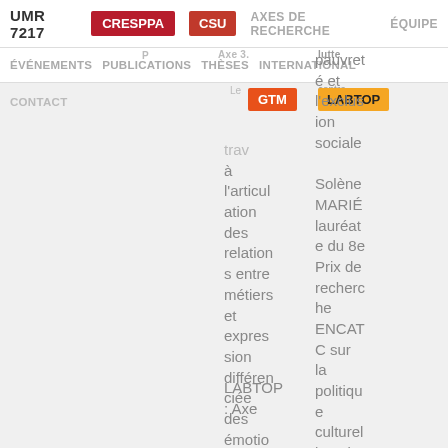UMR 7217 | CRESPPA | CSU | AXES DE RECHERCHE | ÉQUIPE
ÉVÉNEMENTS | PUBLICATIONS | THÈSES | INTERNATIONAL
CONTACT | GTM | LABTOP
P
Axe 3.
lutte
contre
pauvreté et l'exclusion sociale
Le trav
à l'articulation des relations entre métiers et expression différenciée des émotions |
Solène MARIÉ lauréate du 8e Prix de recherche ENCATC sur la politique culturelle et le
LABTOP : Axe